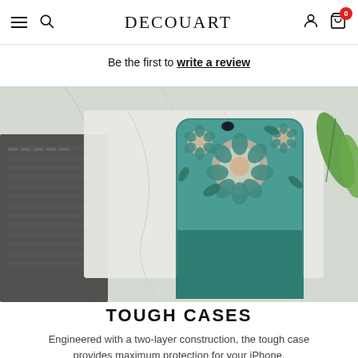DECOUART navigation bar with hamburger menu, search, brand name, user icon, and cart (0)
Be the first to write a review
[Figure (photo): A floral patterned iPhone case with teal and pink flowers on a marble surface next to a laptop keyboard and a green leaf.]
TOUGH CASES
Engineered with a two-layer construction, the tough case provides maximum protection for your iPhone.